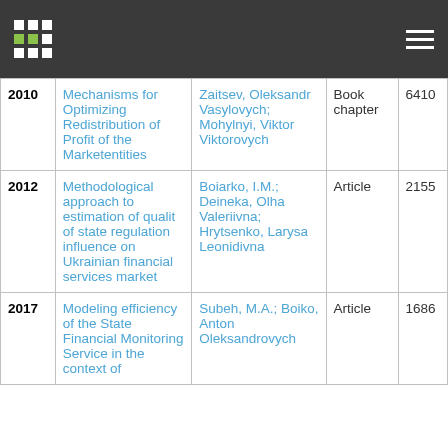| Year | Title | Authors | Type | ID |
| --- | --- | --- | --- | --- |
| 2010 | Mechanisms for Optimizing Redistribution of Profit of the Marketentities | Zaitsev, Oleksandr Vasylovych; Mohylnyi, Viktor Viktorovych | Book chapter | 6410 |
| 2012 | Methodological approach to estimation of qualit of state regulation influence on Ukrainian financial services market | Boiarko, I.M.; Deineka, Olha Valeriivna; Hrytsenko, Larysa Leonidivna | Article | 2155 |
| 2017 | Modeling efficiency of the State Financial Monitoring Service in the context of | Subeh, M.A.; Boiko, Anton Oleksandrovych | Article | 1686 |